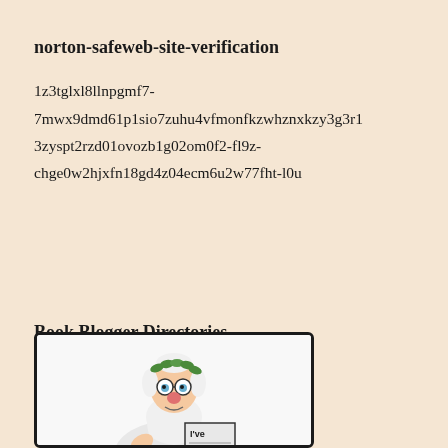norton-safeweb-site-verification
1z3tglxl8llnpgmf7-7mwx9dmd61p1sio7zuhu4vfmonfkzwhznxkzy3g3r13zyspt2rzd01ovozb1g02om0f2-fl9z-chge0w2hjxfn18gd4z04ecm6u2w77fht-l0u
Book Blogger Directories
[Figure (illustration): Cartoon illustration of a wise old man with white beard and hair, wearing laurel wreath, holding a newspaper or sign, shown from waist up inside a rounded rectangle border]